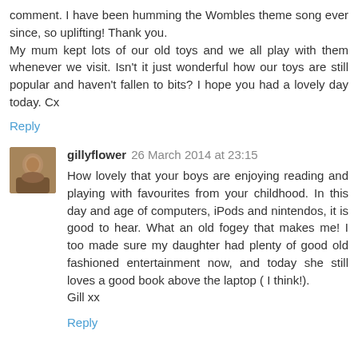comment. I have been humming the Wombles theme song ever since, so uplifting! Thank you.
My mum kept lots of our old toys and we all play with them whenever we visit. Isn't it just wonderful how our toys are still popular and haven't fallen to bits? I hope you had a lovely day today. Cx
Reply
[Figure (photo): Small square avatar photo of a woman]
gillyflower 26 March 2014 at 23:15
How lovely that your boys are enjoying reading and playing with favourites from your childhood. In this day and age of computers, iPods and nintendos, it is good to hear. What an old fogey that makes me! I too made sure my daughter had plenty of good old fashioned entertainment now, and today she still loves a good book above the laptop ( I think!).
Gill xx
Reply